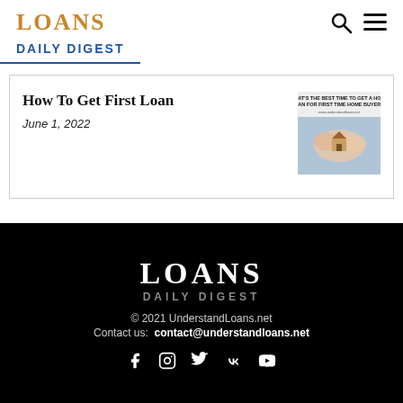LOANS DAILY DIGEST
How To Get First Loan
June 1, 2022
[Figure (photo): Thumbnail image related to home loan article showing hands and a small house, with text overlay 'What's the best time to get a home loan for first time home buyers?']
LOANS DAILY DIGEST © 2021 UnderstandLoans.net Contact us: contact@understandloans.net
© 2021 UnderstandLoans.net
Contact us: contact@understandloans.net